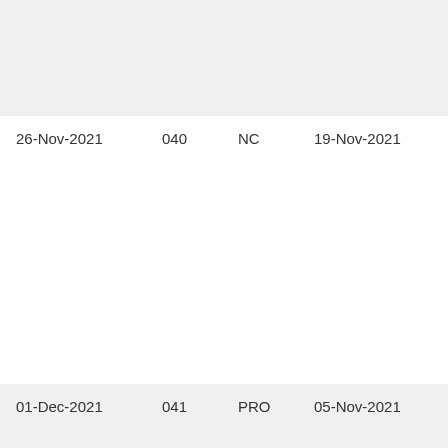| 26-Nov-2021 | 040 | NC | 19-Nov-2021 | Yes |
| 01-Dec-2021 | 041 | PRO | 05-Nov-2021 | Yes |
| 01-Dec-2021 | 042 | NC | 05-Nov-2021 | Yes |